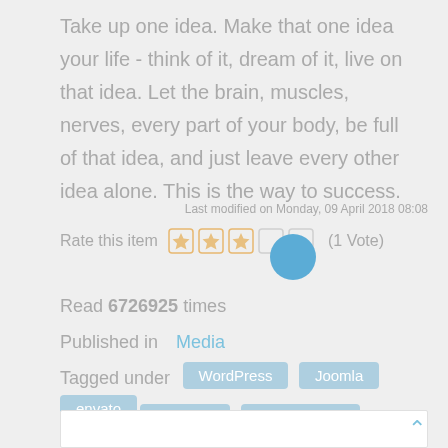Take up one idea. Make that one idea your life - think of it, dream of it, live on that idea. Let the brain, muscles, nerves, every part of your body, be full of that idea, and just leave every other idea alone. This is the way to success.
Last modified on Monday, 09 April 2018 08:08
Rate this item  (1 Vote)
Read 6726925 times
Published in  Media
Tagged under  WordPress  Joomla  envato  Fontaine  arrowthemes